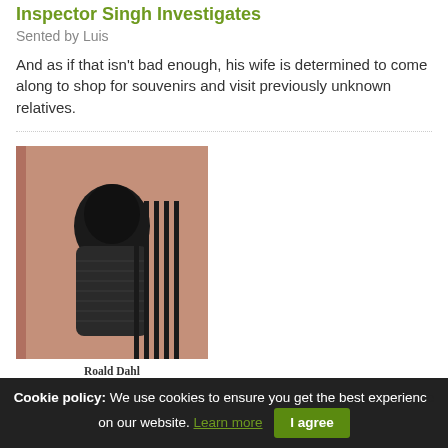Inspector Singh Investigates
Sented by Luis
And as if that isn't bad enough, his wife is determined to come along to shop for souvenirs and visit previously unknown relatives.
[Figure (photo): Book cover of 'Madness' by Roald Dahl published by Penguin, showing a dark figure crouching against a wall]
Roald Dahl
MADNESS
Tales of the Unexpected
Madness
Sented by Michael
Our greatest fear is of losing control - of our lives, but, most of all, of ourselves. In these
Cookie policy: We use cookies to ensure you get the best experience on our website. Learn more  I agree